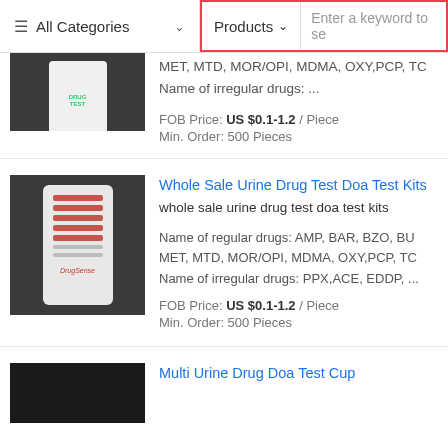≡ All Categories ∨   Products ∨   Enter a keyword to se
MET, MTD, MOR/OPI, MDMA, OXY,PCP, TC
Name of irregular drugs: ...
FOB Price: US $0.1-1.2 / Piece
Min. Order: 500 Pieces
Whole Sale Urine Drug Test Doa Test Kits
whole sale urine drug test doa test kits
Name of regular drugs: AMP, BAR, BZO, BU
MET, MTD, MOR/OPI, MDMA, OXY,PCP, TC
Name of irregular drugs: PPX,ACE, EDDP, ...
FOB Price: US $0.1-1.2 / Piece
Min. Order: 500 Pieces
Multi Urine Drug Doa Test Cup